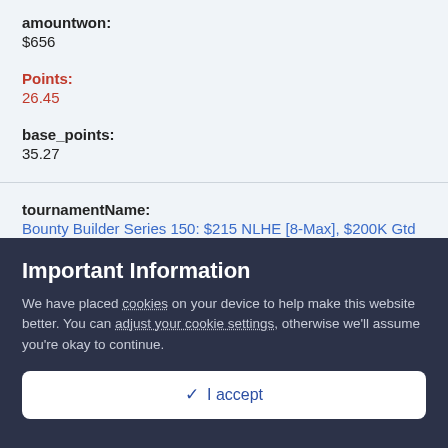amountwon: $656
Points: 26.45
base_points: 35.27
tournamentName: Bounty Builder Series 150: $215 NLHE [8-Max], $200K Gtd
tournamentDate: March 19
Important Information
We have placed cookies on your device to help make this website better. You can adjust your cookie settings, otherwise we'll assume you're okay to continue.
✔ I accept